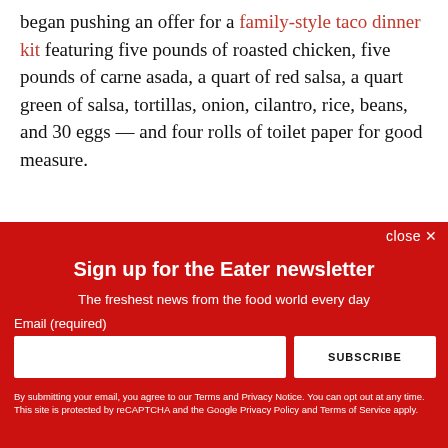began pushing an offer for a family-style taco dinner kit featuring five pounds of roasted chicken, five pounds of carne asada, a quart of red salsa, a quart green of salsa, tortillas, onion, cilantro, rice, beans, and 30 eggs — and four rolls of toilet paper for good measure.
[Figure (other): Advertisement banner with dark background showing KNOB text logo with AD label in top left corner]
close ×
Sign up for the Eater newsletter
The freshest news from the food world every day
Email (required)
SUBSCRIBE
By submitting your email, you agree to our Terms and Privacy Notice. You can opt out at any time. This site is protected by reCAPTCHA and the Google Privacy Policy and Terms of Service apply.